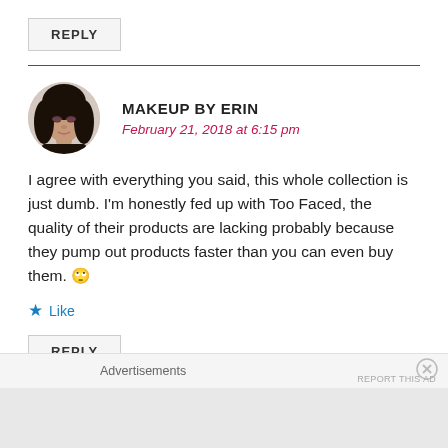REPLY
MAKEUP BY ERIN
February 21, 2018 at 6:15 pm
I agree with everything you said, this whole collection is just dumb. I'm honestly fed up with Too Faced, the quality of their products are lacking probably because they pump out products faster than you can even buy them. 🙄
Like
REPLY
Advertisements